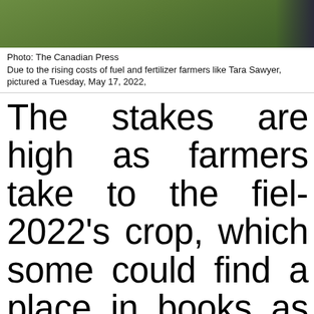[Figure (photo): Partial photo showing grass/field background with person partially visible on right edge]
Photo: The Canadian Press
Due to the rising costs of fuel and fertilizer farmers like Tara Sawyer, pictured a... Tuesday, May 17, 2022,
The stakes are high as farmers take to the fields for 2022's crop, which some could find a place in the books as "the most ever."
On her family's farm n...